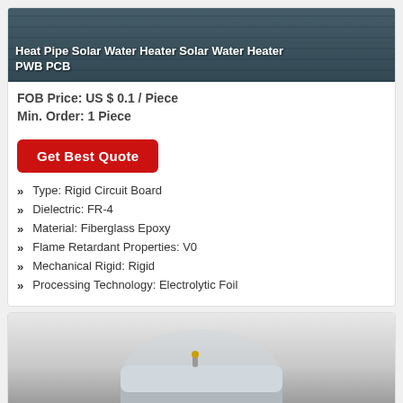[Figure (photo): Product photo of Heat Pipe Solar Water Heater Solar Water Heater PWB PCB, shown as a dark-toned background image]
Heat Pipe Solar Water Heater Solar Water Heater PWB PCB
FOB Price: US $ 0.1 / Piece
Min. Order: 1 Piece
Get Best Quote
Type: Rigid Circuit Board
Dielectric: FR-4
Material: Fiberglass Epoxy
Flame Retardant Properties: V0
Mechanical Rigid: Rigid
Processing Technology: Electrolytic Foil
[Figure (photo): Product photo of a solar water heater unit showing metal tubes and collectors, silver/metallic cylindrical components]